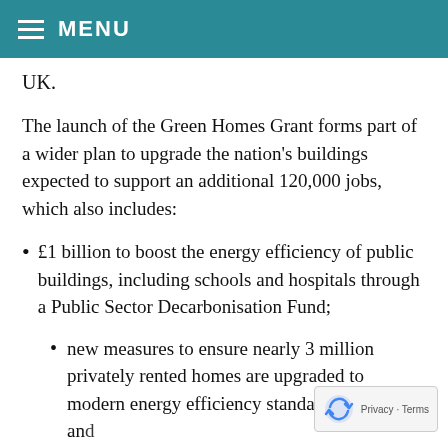MENU
UK.
The launch of the Green Homes Grant forms part of a wider plan to upgrade the nation's buildings expected to support an additional 120,000 jobs, which also includes:
£1 billion to boost the energy efficiency of public buildings, including schools and hospitals through a Public Sector Decarbonisation Fund;
new measures to ensure nearly 3 million privately rented homes are upgraded to modern energy efficiency standards by 2028; and
£50 million to improve the energy